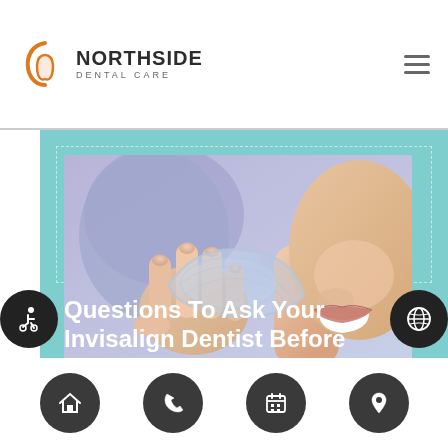[Figure (logo): Northside Dental Care logo with orange arc/tooth graphic and text]
Questions To Ask Your Invisalign Dentist Before
[Figure (photo): Woman smiling while holding a clear dental aligner/retainer against a purple background]
Navigation bar with home, phone, calendar, and location icons